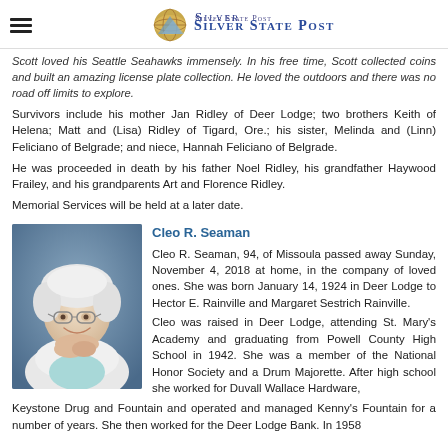Silver State Post
Scott loved his Seattle Seahawks immensely. In his free time, Scott collected coins and built an amazing license plate collection. He loved the outdoors and there was no road off limits to explore.
Survivors include his mother Jan Ridley of Deer Lodge; two brothers Keith of Helena; Matt and (Lisa) Ridley of Tigard, Ore.; his sister, Melinda and (Linn) Feliciano of Belgrade; and niece, Hannah Feliciano of Belgrade.
He was proceeded in death by his father Noel Ridley, his grandfather Haywood Frailey, and his grandparents Art and Florence Ridley.
Memorial Services will be held at a later date.
Cleo R. Seaman
[Figure (photo): Portrait photo of Cleo R. Seaman, an elderly woman with white hair and glasses, smiling, wearing a white jacket over a light blue top.]
Cleo R. Seaman, 94, of Missoula passed away Sunday, November 4, 2018 at home, in the company of loved ones. She was born January 14, 1924 in Deer Lodge to Hector E. Rainville and Margaret Sestrich Rainville.
Cleo was raised in Deer Lodge, attending St. Mary's Academy and graduating from Powell County High School in 1942. She was a member of the National Honor Society and a Drum Majorette. After high school she worked for Duvall Wallace Hardware, Keystone Drug and Fountain and operated and managed Kenny's Fountain for a number of years. She then worked for the Deer Lodge Bank. In 1958